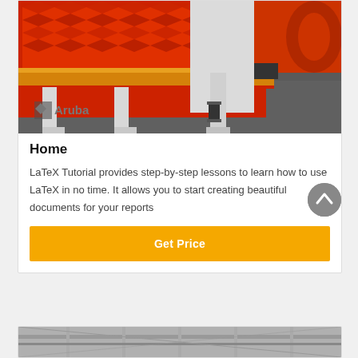[Figure (photo): Industrial vibrating screen machine with red and orange panels, white structural supports, and an Aruba logo in the lower left corner.]
Home
LaTeX Tutorial provides step-by-step lessons to learn how to use LaTeX in no time. It allows you to start creating beautiful documents for your reports
Get Price
[Figure (photo): Partially visible industrial machinery photo at the bottom of the page.]